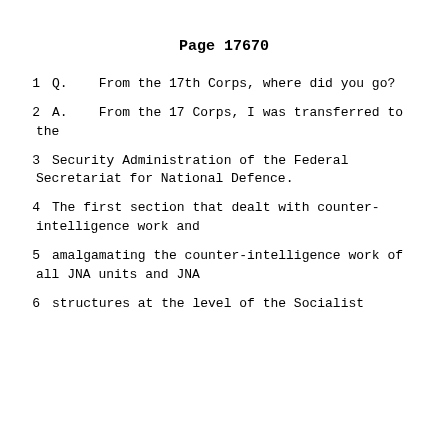Page 17670
1    Q.    From the 17th Corps, where did you go?
2    A.    From the 17 Corps, I was transferred to the
3    Security Administration of the Federal Secretariat for National Defence.
4    The first section that dealt with counter-intelligence work and
5    amalgamating the counter-intelligence work of all JNA units and JNA
6    structures at the level of the Socialist